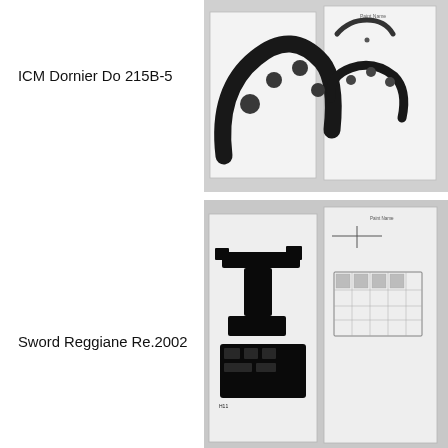ICM Dornier Do 215B-5
[Figure (photo): Photo of ICM Dornier Do 215B-5 instrument panel decal sheets showing curved cockpit dashboard decals and reference sheet]
Sword Reggiane Re.2002
[Figure (photo): Photo of Sword Reggiane Re.2002 instrument panel decal sheets showing black cockpit instrument decals and reference sheet]
These are excellent additions to your kit and will really enhance the look of your interior. If you like "stock" cockpits than you might still want to pick these up because they will really make your cockpit stand out.
The only thing I would also want would be photoetch seat belts. With the majority of the kit cockpits out